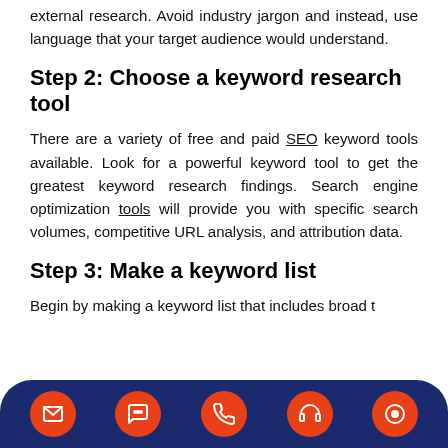external research. Avoid industry jargon and instead, use language that your target audience would understand.
Step 2: Choose a keyword research tool
There are a variety of free and paid SEO keyword tools available. Look for a powerful keyword tool to get the greatest keyword research findings. Search engine optimization tools will provide you with specific search volumes, competitive URL analysis, and attribution data.
Step 3: Make a keyword list
Begin by making a keyword list that includes broad t... y...